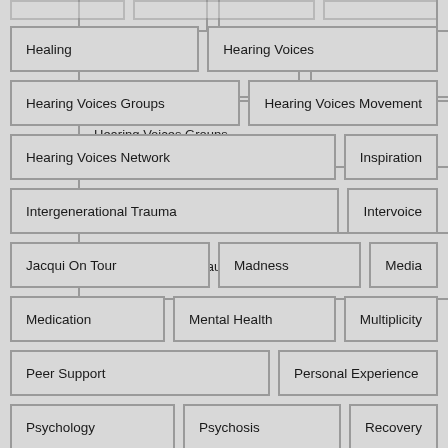Healing
Hearing Voices
Hearing Voices Groups
Hearing Voices Movement
Hearing Voices Network
Inspiration
Intergenerational Trauma
Intervoice
Jacqui On Tour
Madness
Media
Medication
Mental Health
Multiplicity
Peer Support
Personal Experience
Psychology
Psychosis
Recovery
Reflections
Research
Resources